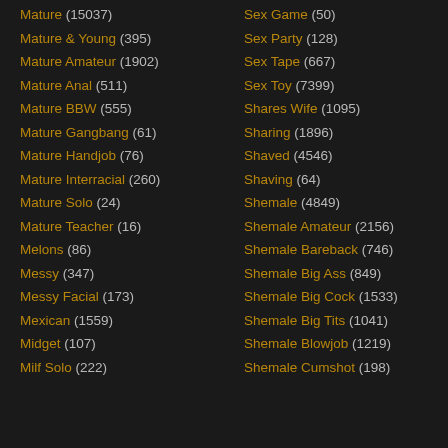Mature (15037)
Mature & Young (395)
Mature Amateur (1902)
Mature Anal (511)
Mature BBW (555)
Mature Gangbang (61)
Mature Handjob (76)
Mature Interracial (260)
Mature Solo (24)
Mature Teacher (16)
Melons (86)
Messy (347)
Messy Facial (173)
Mexican (1559)
Midget (107)
Milf Solo (222)
Sex Game (50)
Sex Party (128)
Sex Tape (667)
Sex Toy (7399)
Shares Wife (1095)
Sharing (1896)
Shaved (4546)
Shaving (64)
Shemale (4849)
Shemale Amateur (2156)
Shemale Bareback (746)
Shemale Big Ass (849)
Shemale Big Cock (1533)
Shemale Big Tits (1041)
Shemale Blowjob (1219)
Shemale Cumshot (198)